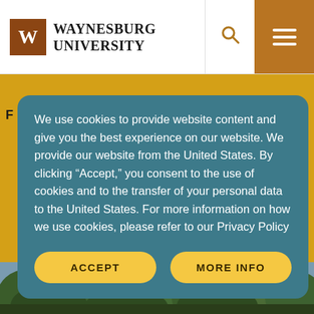Waynesburg University
We use cookies to provide website content and give you the best experience on our website. We provide our website from the United States. By clicking “Accept,” you consent to the use of cookies and to the transfer of your personal data to the United States. For more information on how we use cookies, please refer to our Privacy Policy
ACCEPT
MORE INFO
[Figure (photo): Trees and greenery visible at the bottom of the page behind the cookie consent modal]